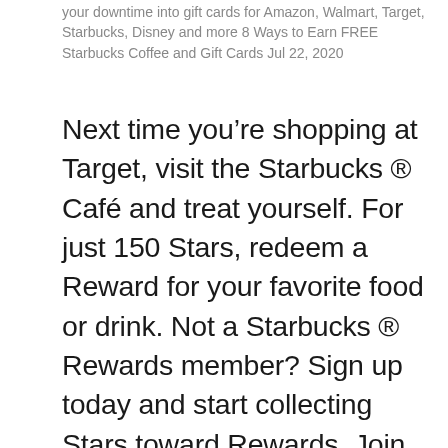your downtime into gift cards for Amazon, Walmart, Target, Starbucks, Disney and more 8 Ways to Earn FREE Starbucks Coffee and Gift Cards Jul 22, 2020
Next time you’re shopping at Target, visit the Starbucks ® Café and treat yourself. For just 150 Stars, redeem a Reward for your favorite food or drink. Not a Starbucks ® Rewards member? Sign up today and start collecting Stars toward Rewards. Join now. Learn more about Starbucks ® Rewards. Available at participating grocery café locations.